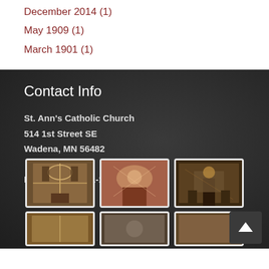December 2014 (1)
May 1909 (1)
March 1901 (1)
Contact Info
St. Ann's Catholic Church
514 1st Street SE
Wadena, MN 56482

Phone: (218) 631-1593
[Figure (photo): Grid of thumbnail photos of church interior]
[Figure (photo): Back to top button arrow icon]